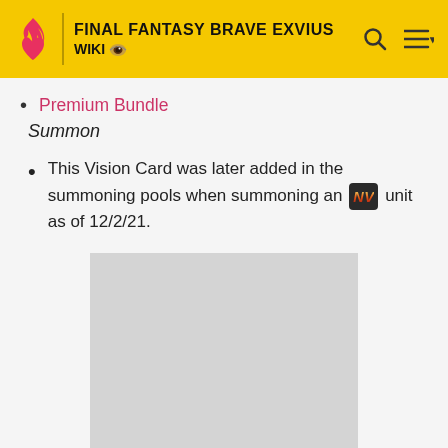FINAL FANTASY BRAVE EXVIUS WIKI
Premium Bundle
Summon
This Vision Card was later added in the summoning pools when summoning an NV unit as of 12/2/21.
[Figure (photo): Gray placeholder image rectangle]